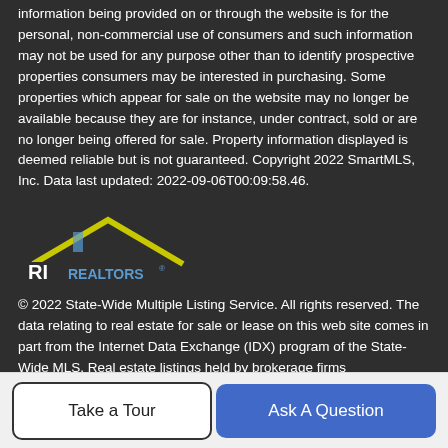information being provided on or through the website is for the personal, non-commercial use of consumers and such information may not be used for any purpose other than to identify prospective properties consumers may be interested in purchasing. Some properties which appear for sale on the website may no longer be available because they are for instance, under contract, sold or are no longer being offered for sale. Property information displayed is deemed reliable but is not guaranteed. Copyright 2022 SmartMLS, Inc. Data last updated: 2022-09-06T00:09:58.46.
[Figure (logo): RI Realtors logo with yellow roof shape and blue text]
© 2022 State-Wide Multiple Listing Service. All rights reserved. The data relating to real estate for sale or lease on this web site comes in part from the Internet Data Exchange (IDX) program of the State-Wide MLS. Real estate listings held by brokerage firms
Take a Tour | Ask A Question